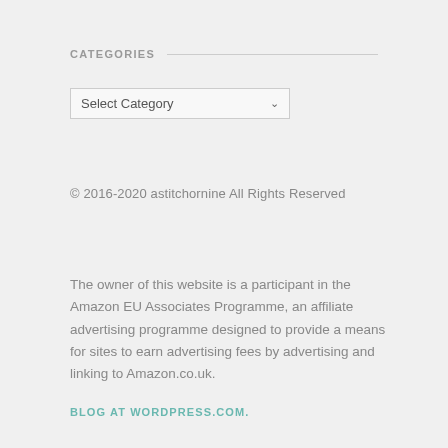CATEGORIES
Select Category
© 2016-2020 astitchornine All Rights Reserved
The owner of this website is a participant in the Amazon EU Associates Programme, an affiliate advertising programme designed to provide a means for sites to earn advertising fees by advertising and linking to Amazon.co.uk.
BLOG AT WORDPRESS.COM.